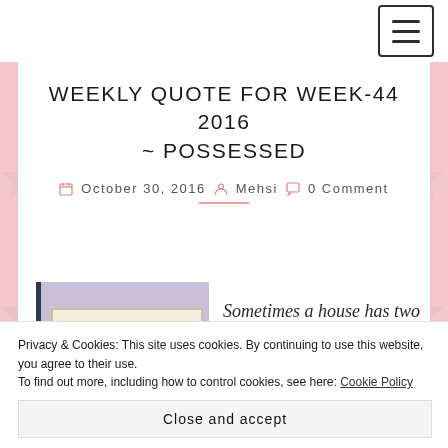[Navigation bar with hamburger menu]
WEEKLY QUOTE FOR WEEK-44 2016 ~ POSSESSED
October 30, 2016  Mehsi  0 Comment
[Figure (photo): Book cover of POSSESSED on a purple/lilac background, with italic quote text: Sometimes a house has two]
Privacy & Cookies: This site uses cookies. By continuing to use this website, you agree to their use. To find out more, including how to control cookies, see here: Cookie Policy
Close and accept